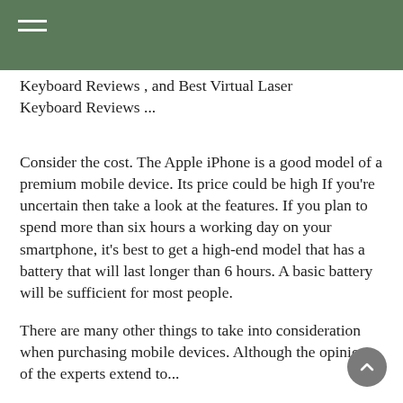Keyboard Reviews , and Best Virtual Laser Keyboard Reviews ...
Consider the cost. The Apple iPhone is a good model of a premium mobile device. Its price could be high If you’re uncertain then take a look at the features. If you plan to spend more than six hours a working day on your smartphone, it’s best to get a high-end model that has a battery that will last longer than 6 hours. A basic battery will be sufficient for most people.
There are many other things to take into consideration when purchasing mobile devices. Although the opinions of the experts extend to...